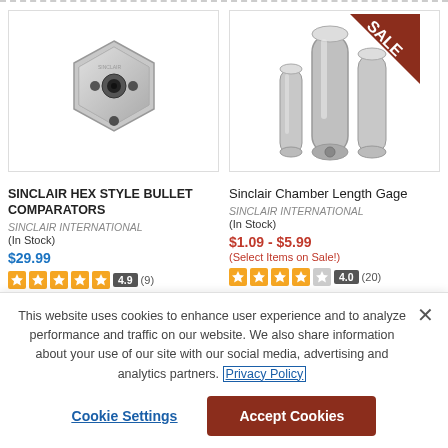[Figure (photo): Sinclair Hex Style Bullet Comparators product photo - silver hexagonal metal tool]
[Figure (photo): Sinclair Chamber Length Gage product photo - three silver cylindrical gauges with SALE banner]
SINCLAIR HEX STYLE BULLET COMPARATORS
SINCLAIR INTERNATIONAL
(In Stock)
$29.99
4.9 (9)
Sinclair Chamber Length Gage
SINCLAIR INTERNATIONAL
(In Stock)
$1.09 - $5.99
(Select Items on Sale!)
4.0 (20)
This website uses cookies to enhance user experience and to analyze performance and traffic on our website. We also share information about your use of our site with our social media, advertising and analytics partners. Privacy Policy
Cookie Settings
Accept Cookies